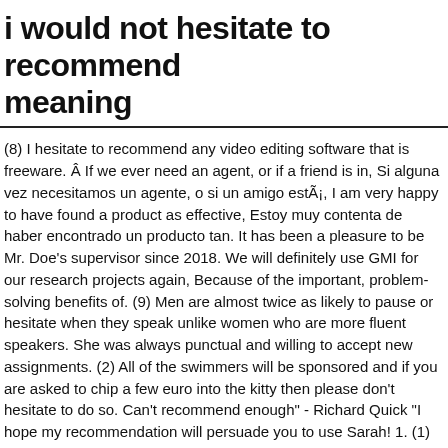i would not hesitate to recommend meaning
(8) I hesitate to recommend any video editing software that is freeware. Â  If we ever need an agent, or if a friend is in, Si alguna vez necesitamos un agente, o si un amigo está, I am very happy to have found a product as effective, Estoy muy contenta de haber encontrado un producto tan. It has been a pleasure to be Mr. Doe's supervisor since 2018. We will definitely use GMI for our research projects again, Because of the important, problem-solving benefits of. (9) Men are almost twice as likely to pause or hesitate when they speak unlike women who are more fluent speakers. She was always punctual and willing to accept new assignments. (2) All of the swimmers will be sponsored and if you are asked to chip a few euro into the kitty then please don't hesitate to do so. Can't recommend enough" - Richard Quick "I hope my recommendation will persuade you to use Sarah! 1. (1) Why then do I hesitate to recommend it? on. I would not hesitate to recommend him to anyone. Google's free service instantly translates words, phrases, and web pages between English and over 100 other languages. Her keen sense of organization and unlimited energy led to